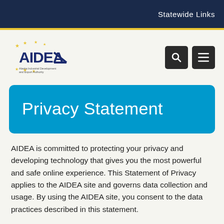Statewide Links
[Figure (logo): AIDEA logo — Alaska Industrial Development and Export Authority — with stars and stylized text]
Privacy Statement
AIDEA is committed to protecting your privacy and developing technology that gives you the most powerful and safe online experience. This Statement of Privacy applies to the AIDEA site and governs data collection and usage. By using the AIDEA site, you consent to the data practices described in this statement.